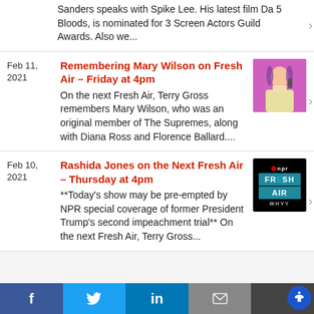Sanders speaks with Spike Lee. His latest film Da 5 Bloods, is nominated for 3 Screen Actors Guild Awards. Also we...
Feb 11, 2021
Remembering Mary Wilson on Fresh Air – Friday at 4pm
On the next Fresh Air, Terry Gross remembers Mary Wilson, who was an original member of The Supremes, along with Diana Ross and Florence Ballard....
[Figure (photo): Photo of Mary Wilson performing on stage with pink background]
Feb 10, 2021
Rashida Jones on the Next Fresh Air – Thursday at 4pm
**Today's show may be pre-empted by NPR special coverage of former President Trump's second impeachment trial** On the next Fresh Air, Terry Gross...
[Figure (logo): NPR Fresh Air WHYY logo on black background]
f   t   in   [mail]   [accessibility]